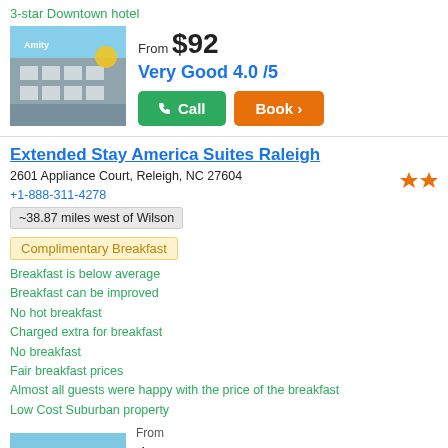3-star Downtown hotel
[Figure (photo): Hotel building exterior photo]
From $92
Very Good 4.0 /5
Call
Book >
Extended Stay America Suites Raleigh
2601 Appliance Court, Releigh, NC 27604
+1-888-311-4278
~38.87 miles west of Wilson
Complimentary Breakfast
Breakfast is below average
Breakfast can be improved
No hot breakfast
Charged extra for breakfast
No breakfast
Fair breakfast prices
Almost all guests were happy with the price of the breakfast
Low Cost Suburban property
[Figure (photo): Hotel exterior partial view at bottom]
From $35